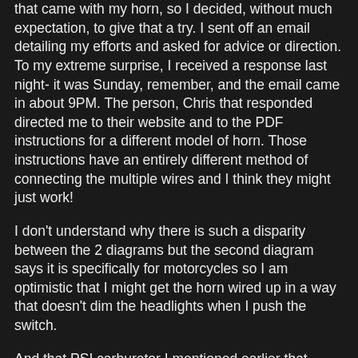that came with my horn, so I decided, without much expectation, to give that a try. I sent off an email detailing my efforts and asked for advice or direction. To my extreme surprise, I received a response last night- it was Sunday, remember, and the email came in about 9PM. The person, Chris that responded directed me to their website and to the PDF instructions for a different model of horn. Those instructions have an entirely different method of connecting the multiple wires and I think they might just work!
I don't understand why there is such a disparity between the 2 diagrams but the second diagram says it is specifically for motorcycles so I am optimistic that I might get the horn wired up in a way that doesn't dim the headlights when I push the switch.
And that PSI carburetor I mentioned earlier that looked so interesting? It retails for $595! I don't think I will be springing for that upgrade on my little scooter anytime soon.
[UPDATE] No joy on the new wire diagram! Hoover Damm! I tried it tonight and have just about decided that the Wolo